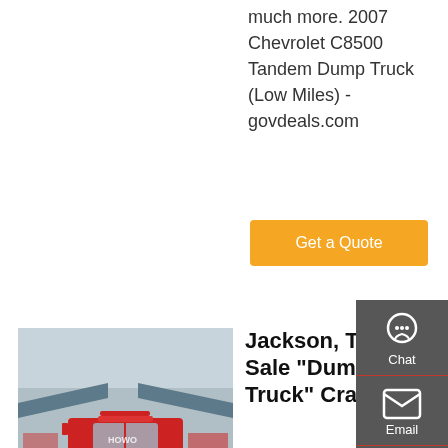much more. 2007 Chevrolet C8500 Tandem Dump Truck (Low Miles) - govdeals.com
Get a Quote
[Figure (photo): Red heavy-duty dump truck (HOWO brand) parked in a yard with other trucks in the background]
Jackson, TN For Sale "Dump Truck" Craigslist
2008 Freightliner M2 15' Dump Truck. $0 (mem > Call Us Today For An Instant Quote! ) pic hide this posting restore restore this posting. $7,500. favorite this post Sep 6. 1998 Ford LT8501 Tri-